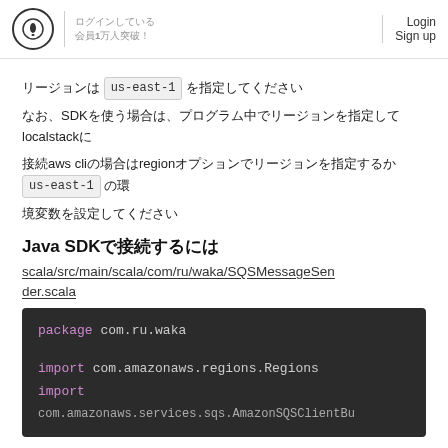ログインしている 会員1万人突破！ Login Sign up
リージョンは us-east-1 を指定してください
なお、SDKを使う場合は、プログラム中でリージョンを指定してlocalstackに
接続aws cliの場合はregionオプションでリージョンを指定するか us-east-1 の環
境変数を設定してください
Java SDKで接続するには
scala/src/main/scala/com/ru/waka/SQSMessageSender.scala
[Figure (screenshot): Code block showing Scala package declaration and imports: package com.ru.waka, import com.amazonaws.regions.Regions, import com.amazonaws.services.sqs.AmazonSQSClientBu...]